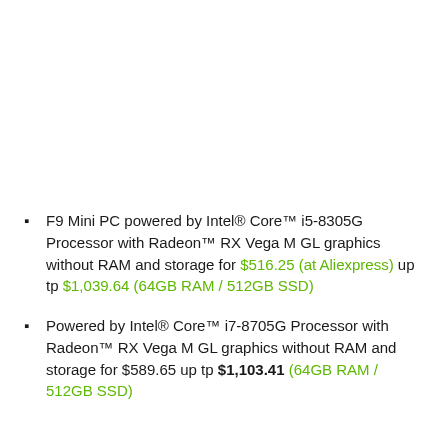F9 Mini PC powered by Intel® Core™ i5-8305G Processor with Radeon™ RX Vega M GL graphics without RAM and storage for $516.25 (at Aliexpress) up tp $1,039.64 (64GB RAM / 512GB SSD)
Powered by Intel® Core™ i7-8705G Processor with Radeon™ RX Vega M GL graphics without RAM and storage for $589.65 up tp $1,103.41 (64GB RAM / 512GB SSD)